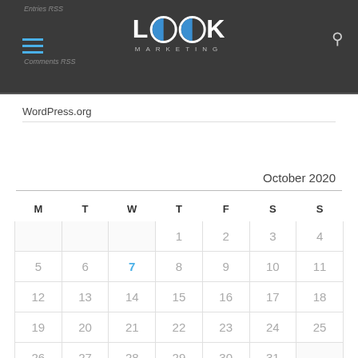LOOK MARKETING — website header with hamburger menu, logo, search icon, Entries RSS, Comments RSS
WordPress.org
October 2020
| M | T | W | T | F | S | S |
| --- | --- | --- | --- | --- | --- | --- |
|  |  |  | 1 | 2 | 3 | 4 |
| 5 | 6 | 7 | 8 | 9 | 10 | 11 |
| 12 | 13 | 14 | 15 | 16 | 17 | 18 |
| 19 | 20 | 21 | 22 | 23 | 24 | 25 |
| 26 | 27 | 28 | 29 | 30 | 31 |  |